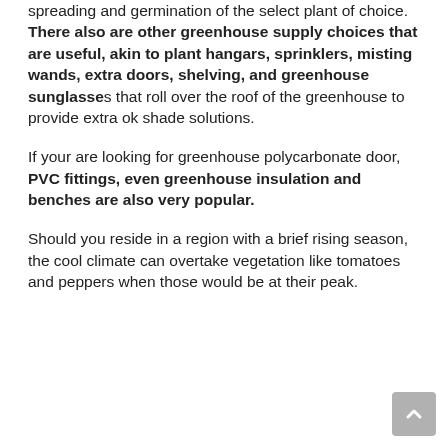spreading and germination of the select plant of choice. There also are other greenhouse supply choices that are useful, akin to plant hangars, sprinklers, misting wands, extra doors, shelving, and greenhouse sunglasses that roll over the roof of the greenhouse to provide extra ok shade solutions.
If your are looking for greenhouse polycarbonate door, PVC fittings, even greenhouse insulation and benches are also very popular.
Should you reside in a region with a brief rising season, the cool climate can overtake vegetation like tomatoes and peppers when those would be at their peak.